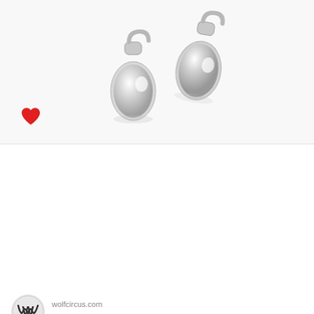[Figure (photo): Two small sterling silver hoop earrings with pearl detail, photographed on a white background. A red heart/like icon is visible in the lower-left area of the image.]
wolfcircus.com
Small Marta Earrings in Sterling Silver
$160